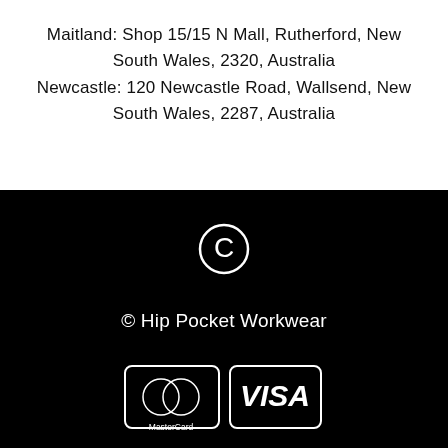Maitland: Shop 15/15 N Mall, Rutherford, New South Wales, 2320, Australia
Newcastle: 120 Newcastle Road, Wallsend, New South Wales, 2287, Australia
[Figure (logo): Copyright circle-C symbol in white on black background]
© Hip Pocket Workwear
[Figure (logo): MasterCard and VISA payment icons in white outline on black background]